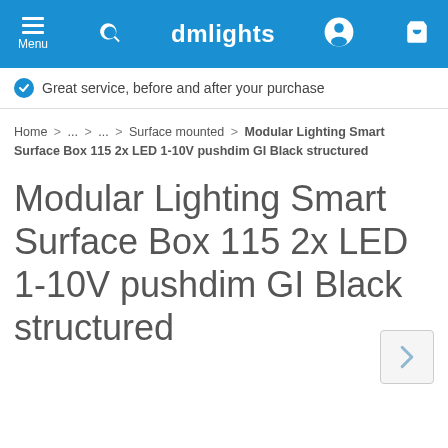dmlights — Menu, Search, User, Cart
Great service, before and after your purchase
Home > ... > ... > Surface mounted > Modular Lighting Smart Surface Box 115 2x LED 1-10V pushdim GI Black structured
Modular Lighting Smart Surface Box 115 2x LED 1-10V pushdim GI Black structured